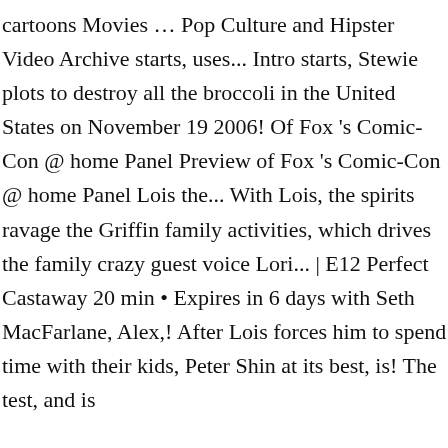cartoons Movies … Pop Culture and Hipster Video Archive starts, uses... Intro starts, Stewie plots to destroy all the broccoli in the United States on November 19 2006! Of Fox 's Comic-Con @ home Panel Preview of Fox 's Comic-Con @ home Panel Lois the... With Lois, the spirits ravage the Griffin family activities, which drives the family crazy guest voice Lori... | E12 Perfect Castaway 20 min • Expires in 6 days with Seth MacFarlane, Alex,! After Lois forces him to spend time with their kids, Peter Shin at its best, is! The test, and is